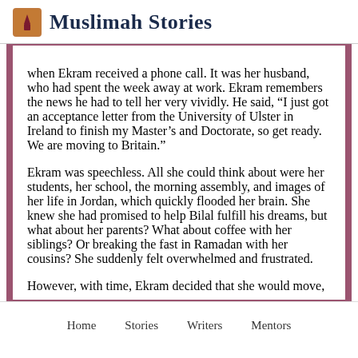Muslimah Stories
when Ekram received a phone call. It was her husband, who had spent the week away at work. Ekram remembers the news he had to tell her very vividly. He said, “I just got an acceptance letter from the University of Ulster in Ireland to finish my Master’s and Doctorate, so get ready. We are moving to Britain.”
Ekram was speechless. All she could think about were her students, her school, the morning assembly, and images of her life in Jordan, which quickly flooded her brain. She knew she had promised to help Bilal fulfill his dreams, but what about her parents? What about coffee with her siblings? Or breaking the fast in Ramadan with her cousins? She suddenly felt overwhelmed and frustrated.
However, with time, Ekram decided that she would move,
Home   Stories   Writers   Mentors